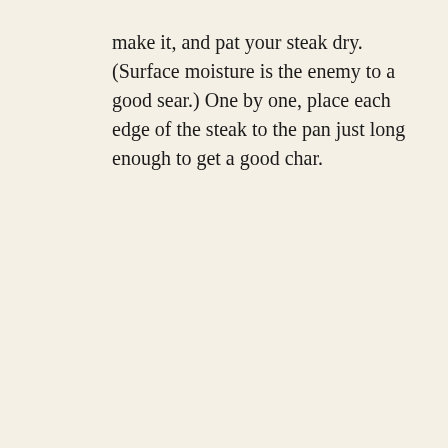make it, and pat your steak dry. (Surface moisture is the enemy to a good sear.) One by one, place each edge of the steak to the pan just long enough to get a good char.